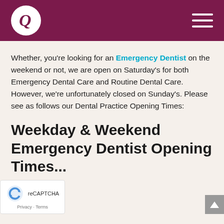Dental practice logo and navigation header
Whether, you're looking for an Emergency Dentist on the weekend or not, we are open on Saturday's for both Emergency Dental Care and Routine Dental Care. However, we're unfortunately closed on Sunday's. Please see as follows our Dental Practice Opening Times:
Weekday & Weekend Emergency Dentist Opening Times...